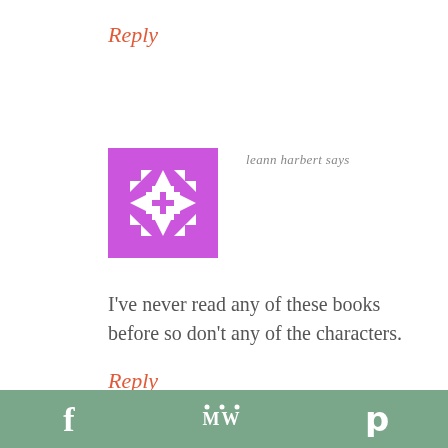Reply
[Figure (illustration): Purple quilt-pattern avatar icon with geometric squares and triangles in a checkerboard-like design]
leann harbert says
I've never read any of these books before so don't any of the characters.
Reply
f  MW  p